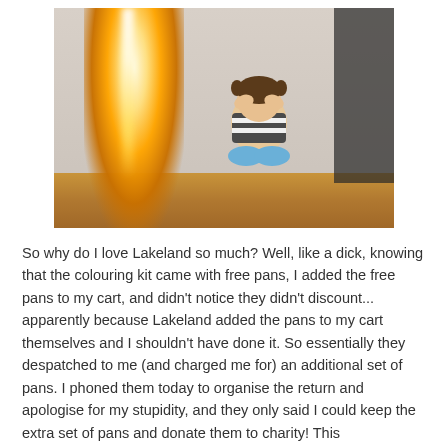[Figure (photo): A young child sitting on the floor covering her face/eyes with her hands, startled by a large bright sparkler or firework indoors on a wooden table. An adult figure is partially visible on the right. The sparkler produces a large bright flare of light.]
So why do I love Lakeland so much? Well, like a dick, knowing that the colouring kit came with free pans, I added the free pans to my cart, and didn't notice they didn't discount... apparently because Lakeland added the pans to my cart themselves and I shouldn't have done it. So essentially they despatched to me (and charged me for) an additional set of pans. I phoned them today to organise the return and apologise for my stupidity, and they only said I could keep the extra set of pans and donate them to charity! This